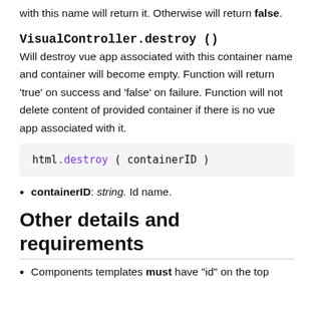with this name will return it. Otherwise will return false.
VisualController.destroy ()
Will destroy vue app associated with this container name and container will become empty. Function will return 'true' on success and 'false' on failure. Function will not delete content of provided container if there is no vue app associated with it.
html.destroy ( containerID )
containerID: string. Id name.
Other details and requirements
Components templates must have "id" on the top